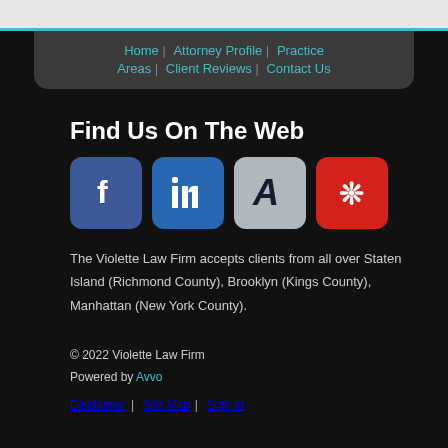Home | Attorney Profile | Practice Areas | Client Reviews | Contact Us
Find Us On The Web
[Figure (other): Social media icons: Facebook, LinkedIn, Avvo, Yelp]
The Violette Law Firm accepts clients from all over Staten Island (Richmond County), Brooklyn (Kings County), Manhattan (New York County).
© 2022 Violette Law Firm
Powered by Avvo
Disclaimer | Site Map | Sign In